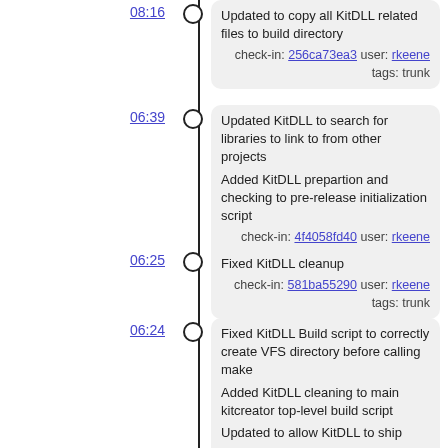08:16 — Updated to copy all KitDLL related files to build directory. check-in: 256ca73ea3 user: rkeene tags: trunk
06:39 — Updated KitDLL to search for libraries to link to from other projects. Added KitDLL prepartion and checking to pre-release initialization script. check-in: 4f4058fd40 user: rkeene tags: trunk
06:25 — Fixed KitDLL cleanup. check-in: 581ba55290 user: rkeene tags: trunk
06:24 — Fixed KitDLL Build script to correctly create VFS directory before calling make. Added KitDLL cleaning to main kitcreator top-level build script. Updated to allow KitDLL to ship. check-in: f547179798 user: rkeene tags: trunk
05:54 — Added kitdll top-level build script